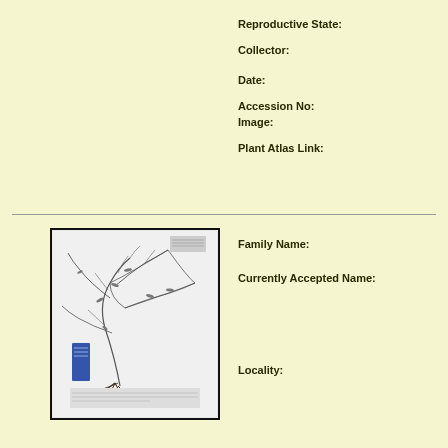Reproductive State:
Collector:
Date:
Accession No:
Image:
Plant Atlas Link:
[Figure (photo): Herbarium specimen photograph of a grass-like plant with thin branching stems, small leaves, and root system, mounted on white paper with a blue label on the lower left]
Family Name:
Currently Accepted Name:
Locality: